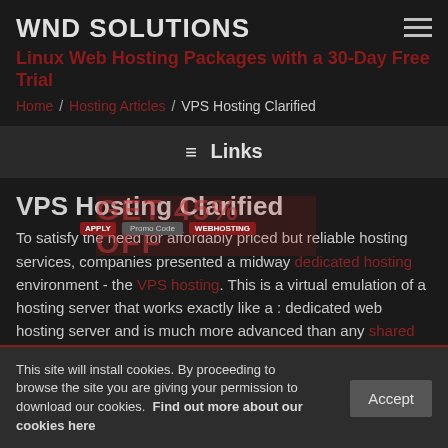WND SOLUTIONS
Linux Web Hosting Packages with a 30-Day Free Trial
Home / Hosting Articles / VPS Hosting Clarified
≡ Links
VPS Hosting Clarified
To satisfy the need for affordably priced but reliable hosting services, companies presented a midway dedicated hosting environment - the VPS hosting. This is a virtual emulation of a hosting server that works exactly like a : dedicated web hosting server and is much more advanced than any shared web hosting solution. At the same time, as many accounts are hosted on the
This site will install cookies. By proceeding to browse the site you are giving your permission to download our cookies. Find out more about our cookies here